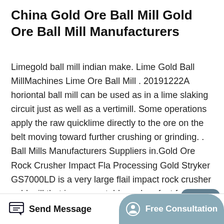China Gold Ore Ball Mill Gold Ore Ball Mill Manufacturers
Limegold ball mill indian make. Lime Gold Ball MillMachines Lime Ore Ball Mill . 20191222A horiontal ball mill can be used as in a lime slaking circuit just as well as a vertimill. Some operations apply the raw quicklime directly to the ore on the belt moving toward further crushing or grinding. . Ball Mills Manufacturers Suppliers in.Gold Ore Rock Crusher Impact Fla Processing Gold Stryker GS7000LD is a very large flail impact rock crusher gold mill that is very portable and perfect for the small gold mining operation The Gold Stryker GS7000LDuses a large 25 HP Honda Industrial engine for many years of trouble free use It can process and crush up to 7
[Figure (other): Scroll-to-top floating button, dark teal rounded square with upward chevron arrow icon]
Send Message   Free Consultation